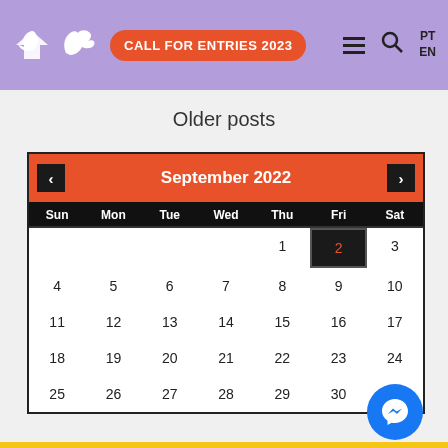CALL FOR ENTRIES 2023 | PT EN
Older posts
[Figure (other): Calendar widget showing September 2022. Left/right navigation arrows. Days header: Sun Mon Tue Wed Thu Fri Sat. Dates 1–30 with date 2 highlighted as today (dark background, orange text). Messenger chat bubble icon at bottom right.]